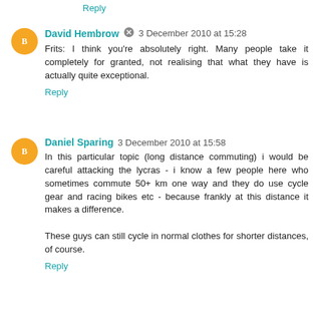Reply
David Hembrow  3 December 2010 at 15:28
Frits: I think you're absolutely right. Many people take it completely for granted, not realising that what they have is actually quite exceptional.
Reply
Daniel Sparing  3 December 2010 at 15:58
In this particular topic (long distance commuting) i would be careful attacking the lycras - i know a few people here who sometimes commute 50+ km one way and they do use cycle gear and racing bikes etc - because frankly at this distance it makes a difference.

These guys can still cycle in normal clothes for shorter distances, of course.
Reply